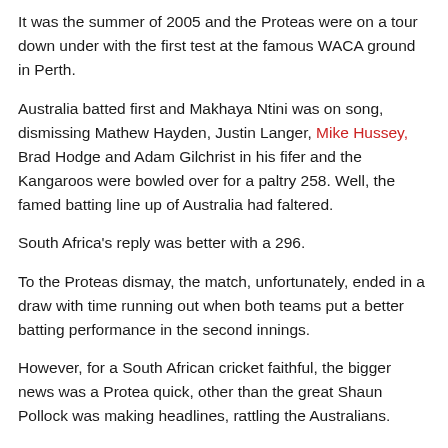It was the summer of 2005 and the Proteas were on a tour down under with the first test at the famous WACA ground in Perth.
Australia batted first and Makhaya Ntini was on song, dismissing Mathew Hayden, Justin Langer, Mike Hussey, Brad Hodge and Adam Gilchrist in his fifer and the Kangaroos were bowled over for a paltry 258. Well, the famed batting line up of Australia had faltered.
South Africa's reply was better with a 296.
To the Proteas dismay, the match, unfortunately, ended in a draw with time running out when both teams put a better batting performance in the second innings.
However, for a South African cricket faithful, the bigger news was a Protea quick, other than the great Shaun Pollock was making headlines, rattling the Australians.
History repeated itself, this time in Newlands, Cape Town when the